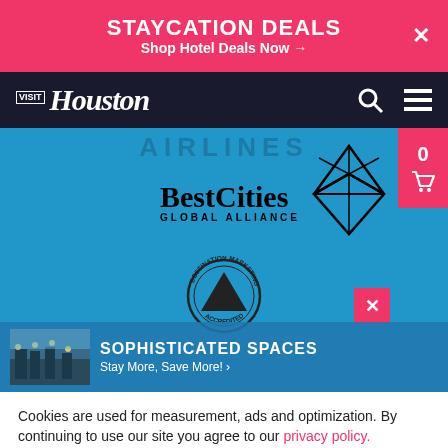STAYCATION DEALS
Shop Hotel Deals Now →
[Figure (logo): Visit Houston logo with search and menu icons on dark navy navigation bar]
[Figure (logo): BestCities Global Alliance logo with geometric star symbol on blue background]
[Figure (logo): Destination Marketing Accredited circular seal]
SOPHISTICATED SPACES
Stay More, Save More! ›
Cookies are used for measurement, ads and optimization. By continuing to use our site you agree to our privacy policy.
Accept